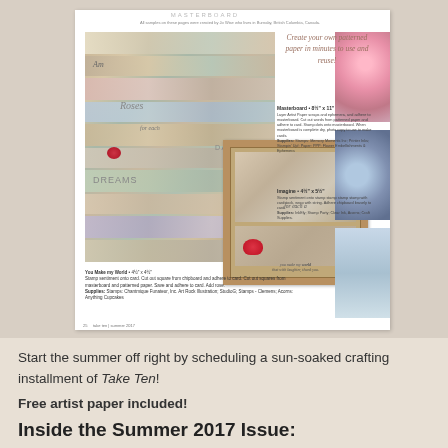[Figure (photo): Magazine page spread showing a crafting/scrapbooking tutorial with collage art featuring words Am, Roses, Days, Dreams and a card with a rose. Title text reads 'Create your own patterned paper in minutes to use and reuse!' with project instructions for Masterboard and Imagine projects. Right side shows floral and blue watercolor images.]
You Make my World • 4½" x 4½"
Stamp sentiment onto card. Cut out squares from chipboard and adhere to card. Cut out squares from masterboard and patterned paper. Save and adhere to card. Add rose.
Supplies: Stamps: Chantmique Funateur, Inc. Art Rock Illustration; StudioG; Stamps - Clemens; Acorns: Anything Cupcakes
25     take ten | summer 2017
Start the summer off right by scheduling a sun-soaked crafting installment of Take Ten!
Free artist paper included!
Inside the Summer 2017 Issue: